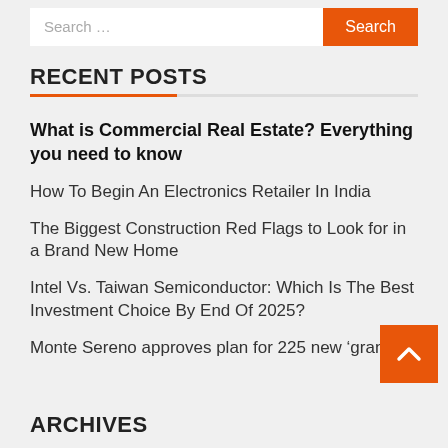Search ...
RECENT POSTS
What is Commercial Real Estate? Everything you need to know
How To Begin An Electronics Retailer In India
The Biggest Construction Red Flags to Look for in a Brand New Home
Intel Vs. Taiwan Semiconductor: Which Is The Best Investment Choice By End Of 2025?
Monte Sereno approves plan for 225 new ‘granny
ARCHIVES